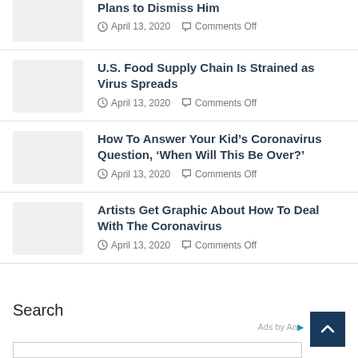Plans to Dismiss Him
April 13, 2020   Comments Off
U.S. Food Supply Chain Is Strained as Virus Spreads
April 13, 2020   Comments Off
How To Answer Your Kid’s Coronavirus Question, ‘When Will This Be Over?’
April 13, 2020   Comments Off
Artists Get Graphic About How To Deal With The Coronavirus
April 13, 2020   Comments Off
Search
Ads by An...